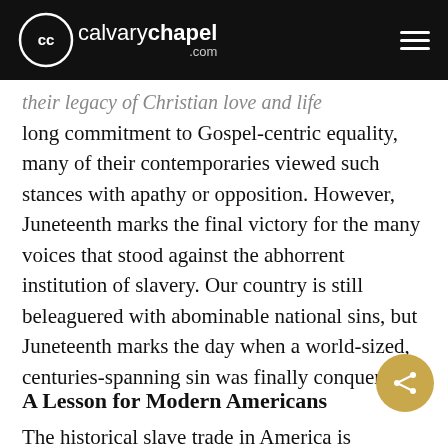calvarychapel.com
their legacy of Christian love and life long commitment to Gospel-centric equality, many of their contemporaries viewed such stances with apathy or opposition. However, Juneteenth marks the final victory for the many voices that stood against the abhorrent institution of slavery. Our country is still beleaguered with abominable national sins, but Juneteenth marks the day when a world-sized, centuries-spanning sin was finally conquered.
A Lesson for Modern Americans
The historical slave trade in America is